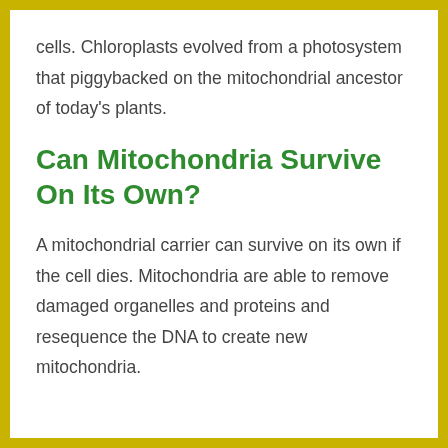cells. Chloroplasts evolved from a photosystem that piggybacked on the mitochondrial ancestor of today's plants.
Can Mitochondria Survive On Its Own?
A mitochondrial carrier can survive on its own if the cell dies. Mitochondria are able to remove damaged organelles and proteins and resequence the DNA to create new mitochondria.